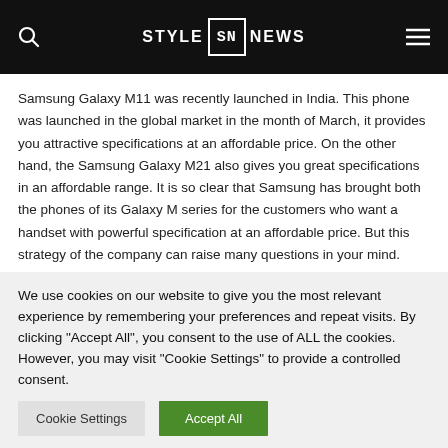STYLE SN NEWS
Samsung Galaxy M11 was recently launched in India. This phone was launched in the global market in the month of March, it provides you attractive specifications at an affordable price. On the other hand, the Samsung Galaxy M21 also gives you great specifications in an affordable range. It is so clear that Samsung has brought both the phones of its Galaxy M series for the customers who want a handset with powerful specification at an affordable price. But this strategy of the company can raise many questions in your mind.
We use cookies on our website to give you the most relevant experience by remembering your preferences and repeat visits. By clicking "Accept All", you consent to the use of ALL the cookies. However, you may visit "Cookie Settings" to provide a controlled consent.